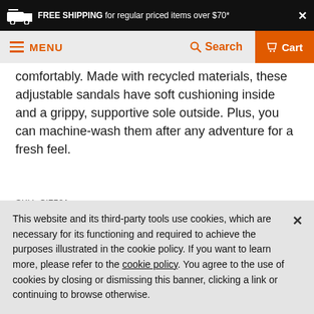FREE SHIPPING for regular priced items over $70*
MENU  Search  Cart
comfortably. Made with recycled materials, these adjustable sandals have soft cushioning inside and a grippy, supportive sole outside. Plus, you can machine-wash them after any adventure for a fresh feel.
SKU: CI7581
$129.98
or 4 interest free payments of $32.49 with  sezzle
This website and its third-party tools use cookies, which are necessary for its functioning and required to achieve the purposes illustrated in the cookie policy. If you want to learn more, please refer to the cookie policy. You agree to the use of cookies by closing or dismissing this banner, clicking a link or continuing to browse otherwise.